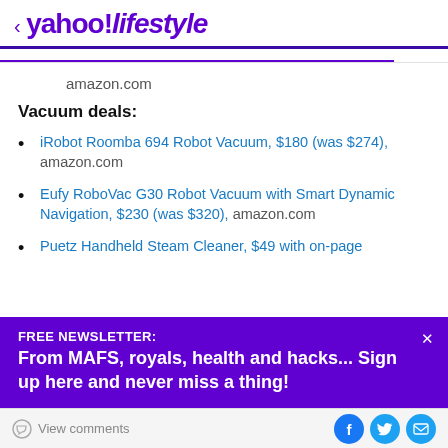< yahoo!lifestyle
amazon.com
Vacuum deals:
iRobot Roomba 694 Robot Vacuum, $180 (was $274), amazon.com
Eufy RoboVac G30 Robot Vacuum with Smart Dynamic Navigation, $230 (was $320), amazon.com
Puetz Handheld Steam Cleaner, $49 with on-page
FREE NEWSLETTER:
From MAFS, royals, health and hacks... Sign up here and never miss a thing!
View comments